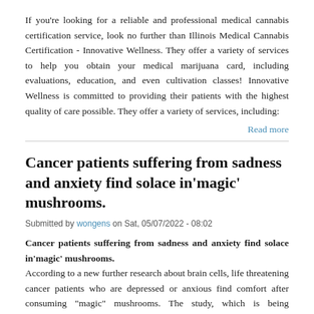If you're looking for a reliable and professional medical cannabis certification service, look no further than Illinois Medical Cannabis Certification - Innovative Wellness. They offer a variety of services to help you obtain your medical marijuana card, including evaluations, education, and even cultivation classes! Innovative Wellness is committed to providing their patients with the highest quality of care possible. They offer a variety of services, including:
Read more
Cancer patients suffering from sadness and anxiety find solace in'magic' mushrooms.
Submitted by wongens on Sat, 05/07/2022 - 08:02
Cancer patients suffering from sadness and anxiety find solace in'magic' mushrooms.
According to a new further research about brain cells, life threatening cancer patients who are depressed or anxious find comfort after consuming "magic" mushrooms. The study, which is being undertaken by